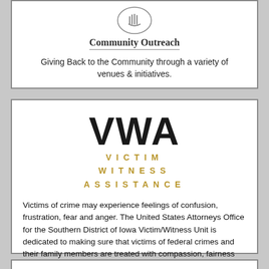[Figure (logo): Community Outreach logo: circular emblem with hands]
Community Outreach
Giving Back to the Community through a variety of venues & initiatives.
[Figure (logo): VWA Victim Witness Assistance logo: large VWA text in black with VICTIM WITNESS ASSISTANCE in gold lettered text below]
Victims of crime may experience feelings of confusion, frustration, fear and anger. The United States Attorneys Office for the Southern District of Iowa Victim/Witness Unit is dedicated to making sure that victims of federal crimes and their family members are treated with compassion, fairness and respect.